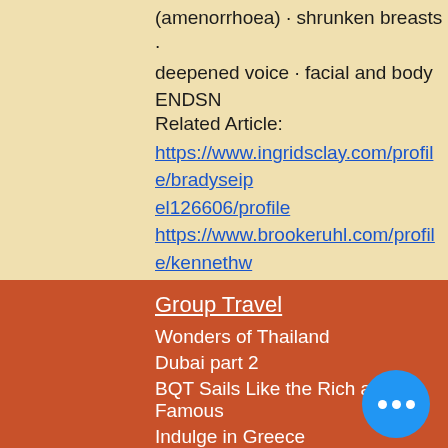(amenorrhoea) · shrunken breasts · deepened voice · facial and body
ENDSN
Related Article:
https://www.ingridsclay.com/profile/bradyseipel126606/profile https://www.brookeruhl.com/profile/kennethwyne123010/profile https://www.yokoharamura.com/profile/luettamcfadyen188363/profile https://www.gordonlivestock.com/profile/mortonbalsis31514/profile
Group Travel
Wonders of Thailand
Dubai part 2
BQT Sails Like the Rich and Famous
Indulge in Greece